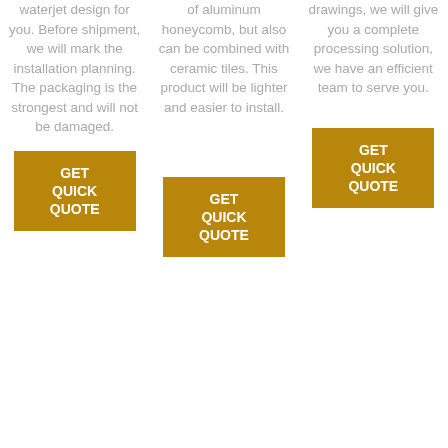waterjet design for you. Before shipment, we will mark the installation planning. The packaging is the strongest and will not be damaged.
GET QUICK QUOTE
of aluminum honeycomb, but also can be combined with ceramic tiles. This product will be lighter and easier to install.
GET QUICK QUOTE
drawings, we will give you a complete processing solution, we have an efficient team to serve you.
GET QUICK QUOTE